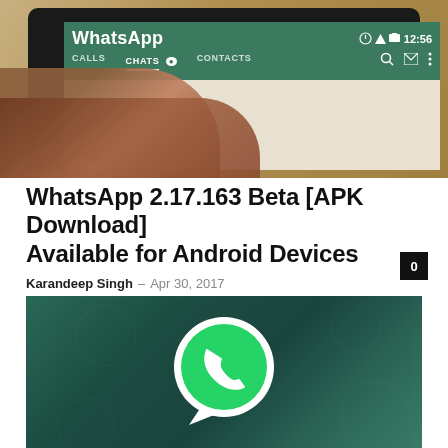[Figure (photo): A hand using a finger to tap on a WhatsApp app screen on a smartphone, showing the WhatsApp interface with CALLS, CHATS, and CONTACTS tabs on a green navigation bar]
WhatsApp 2.17.163 Beta [APK Download] Available for Android Devices
Karandeep Singh – Apr 30, 2017
[Figure (photo): WhatsApp logo (green circle with white phone/chat icon) on a dark teal/green textured background]